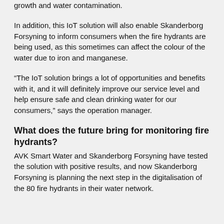growth and water contamination.
In addition, this IoT solution will also enable Skanderborg Forsyning to inform consumers when the fire hydrants are being used, as this sometimes can affect the colour of the water due to iron and manganese.
“The IoT solution brings a lot of opportunities and benefits with it, and it will definitely improve our service level and help ensure safe and clean drinking water for our consumers,” says the operation manager.
What does the future bring for monitoring fire hydrants?
AVK Smart Water and Skanderborg Forsyning have tested the solution with positive results, and now Skanderborg Forsyning is planning the next step in the digitalisation of the 80 fire hydrants in their water network.